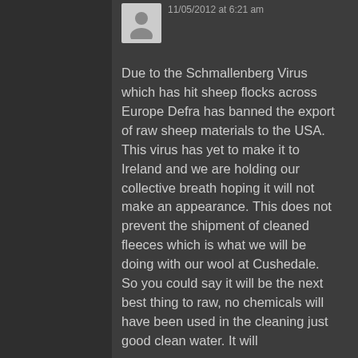11/05/2012 at 6:21 am
Due to the Schmallenberg Virus which has hit sheep flocks across Europe Defra has banned the export of raw sheep materials to the USA. This virus has yet to make it to Ireland and we are holding our collective breath hoping it will not make an appearance. This does not prevent the shipment of cleaned fleeces which is what we will be doing with our wool at Cushedale. So you could say it will be the next best thing to raw, no chemicals will have been used in the cleaning just good clean water. It will